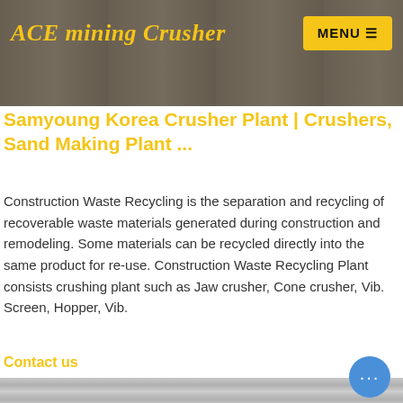[Figure (photo): Header banner image showing industrial mining/crusher equipment with dark overlay]
ACE mining Crusher
MENU ≡
Samyoung Korea Crusher Plant | Crushers, Sand Making Plant ...
Construction Waste Recycling is the separation and recycling of recoverable waste materials generated during construction and remodeling. Some materials can be recycled directly into the same product for re-use. Construction Waste Recycling Plant consists crushing plant such as Jaw crusher, Cone crusher, Vib. Screen, Hopper, Vib.
Contact us
[Figure (photo): Bottom image showing close-up of white industrial crusher or processing equipment parts]